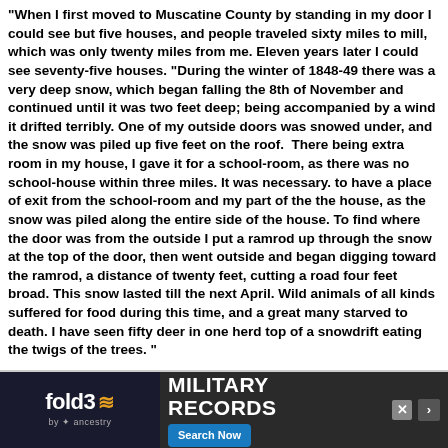"When I first moved to Muscatine County by standing in my door I could see but five houses, and people traveled sixty miles to mill, which was only twenty miles from me. Eleven years later I could see seventy-five houses. "During the winter of 1848-49 there was a very deep snow, which began falling the 8th of November and continued until it was two feet deep; being accompanied by a wind it drifted terribly. One of my outside doors was snowed under, and the snow was piled up five feet on the roof.  There being extra room in my house, I gave it for a school-room, as there was no school-house within three miles. It was necessary. to have a place of exit from the school-room and my part of the the house, as the snow was piled along the entire side of the house. To find where the door was from the outside I put a ramrod up through the snow at the top of the door, then went outside and began digging toward the ramrod, a distance of twenty feet, cutting a road four feet broad. This snow lasted till the next April. Wild animals of all kinds suffered for food during this time, and a great many starved to death. I have seen fifty deer in one herd top of a snowdrift eating the twigs of the trees. "
"I bought fifty-eight acres of timber and prairie this year. In February I commenced to break forty acres, and by the 4th of June had it enclosed and planted in corn. The 25th of June my wife died of cholera, leaving me with a family of four children. With the assistance of kind neighbors I kept my family together until the following January, when I married my present wife. The following spring I bought eighty acres. "We lived a prosperous, contented and happy life until th... Pacific Railroad w... ctly through th... ce more, in O...
[Figure (other): Advertisement overlay for Fold3 Military Records by Ancestry. Dark background with Fold3 logo on left and 'MILITARY RECORDS' text on right with a 'Search Now' button.]